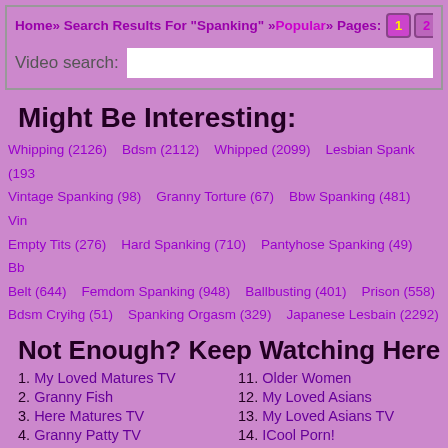Home » Search Results For "Spanking" » Popular » Pages: 1 2 3
Video search:
Might Be Interesting:
Whipping (2126)  Bdsm (2112)  Whipped (2099)  Lesbian Spank (193...)  Vintage Spanking (98)  Granny Torture (67)  Bbw Spanking (481)  Vin...  Empty Tits (276)  Hard Spanking (710)  Pantyhose Spanking (49)  Bb...  Belt (644)  Femdom Spanking (948)  Ballbusting (401)  Prison (558)  Bdsm Cryihg (51)  Spanking Orgasm (329)  Japanese Lesbain (2292)
Not Enough? Keep Watching Here
1. My Loved Matures TV
2. Granny Fish
3. Here Matures TV
4. Granny Patty TV
5. Old Pussy TV
6. Secret Matures
11. Older Women
12. My Loved Asians
13. My Loved Asians TV
14. ICool Porn!
15. One More Porn!
16. Yes More Porn!
21.
22.
23.
24.
25.
26.